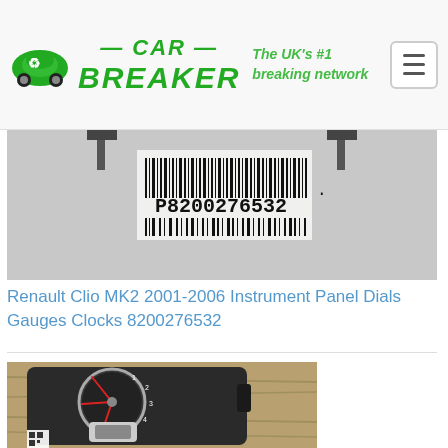— CAR — BREAKER — The UK's #1 breaking network
[Figure (photo): Photo of a Renault instrument panel cluster showing barcode label with number P8200276532]
Renault Clio MK2 2001-2006 Instrument Panel Dials Gauges Clocks 8200276532
[Figure (photo): Photo of a Renault Clio MK2 instrument cluster/dials unit with tachometer showing on a wooden surface]